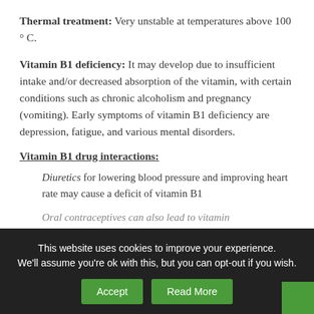Thermal treatment: Very unstable at temperatures above 100 ° C.
Vitamin B1 deficiency: It may develop due to insufficient intake and/or decreased absorption of the vitamin, with certain conditions such as chronic alcoholism and pregnancy (vomiting). Early symptoms of vitamin B1 deficiency are depression, fatigue, and various mental disorders.
Vitamin B1 drug interactions:
Diuretics for lowering blood pressure and improving heart rate may cause a deficit of vitamin B1
Oral contraceptives can also lead to vitamin...
This website uses cookies to improve your experience. We'll assume you're ok with this, but you can opt-out if you wish.